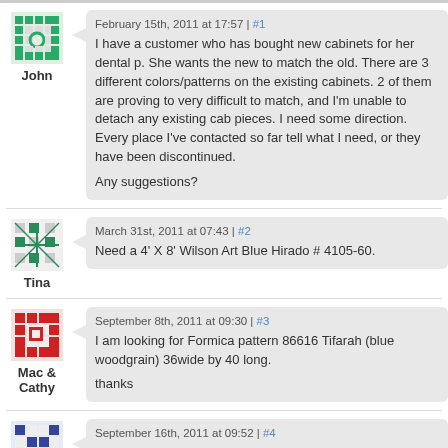February 15th, 2011 at 17:57 | #1
I have a customer who has bought new cabinets for her dental p. She wants the new to match the old. There are 3 different colors/patterns on the existing cabinets. 2 of them are proving to very difficult to match, and I'm unable to detach any existing cab pieces. I need some direction. Every place I've contacted so far tell what I need, or they have been discontinued.

Any suggestions?
March 31st, 2011 at 07:43 | #2
Need a 4' X 8' Wilson Art Blue Hirado # 4105-60.
September 8th, 2011 at 09:30 | #3
I am looking for Formica pattern 86616 Tifarah (blue woodgrain) 36wide by 40 long.

thanks
September 16th, 2011 at 09:52 | #4
I'm looking for at least one piece of Wilsonart Capisto Sand lam